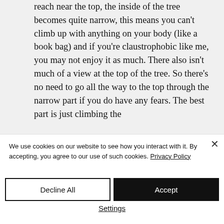reach near the top, the inside of the tree becomes quite narrow, this means you can't climb up with anything on your body (like a book bag) and if you're claustrophobic like me, you may not enjoy it as much. There also isn't much of a view at the top of the tree. So there's no need to go all the way to the top through the narrow part if you do have any fears. The best part is just climbing the
We use cookies on our website to see how you interact with it. By accepting, you agree to our use of such cookies. Privacy Policy
Decline All
Accept
Settings